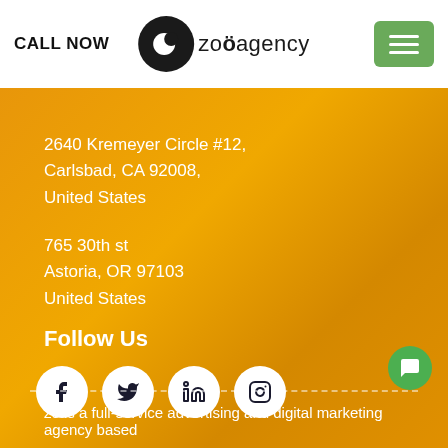CALL NOW | zoagency | [hamburger menu]
2640 Kremeyer Circle #12,
Carlsbad, CA 92008,
United States
765 30th st
Astoria, OR 97103
United States
Follow Us
[Figure (infographic): Four white circular social media icons: Facebook, Twitter, LinkedIn, Instagram]
zo is a full-service advertising and digital marketing agency based